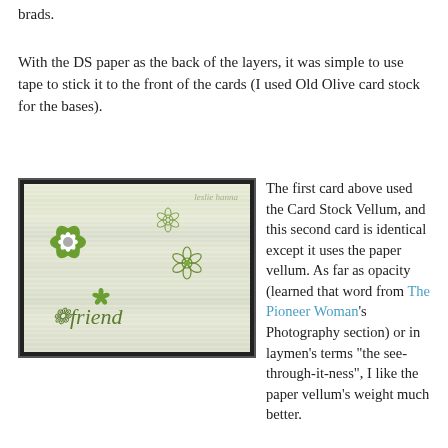brads.
With the DS paper as the back of the layers, it was simple to use tape to stick it to the front of the cards (I used Old Olive card stock for the bases).
[Figure (photo): A handmade greeting card with green and white floral decorations on a striped vellum background. The word 'friend' is written in green italic script at the bottom. A large white daisy with green leaf cutouts is on the left, with smaller stamped flower designs scattered around.]
The first card above used the Card Stock Vellum, and this second card is identical except it uses the paper vellum. As far as opacity (learned that word from The Pioneer Woman's Photography section) or in laymen's terms "the see-through-it-ness", I like the paper vellum's weight much better.